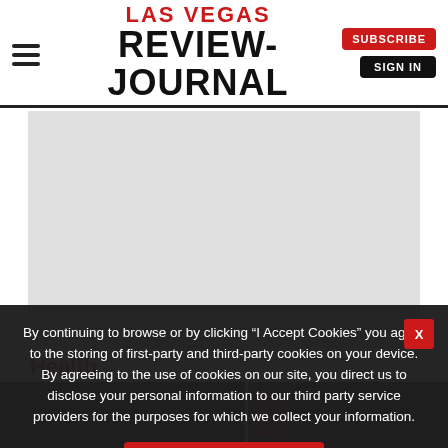LAS VEGAS REVIEW-JOURNAL | SUBSCRIBE | SIGN IN
[Figure (other): Gray placeholder advertisement block]
Health
[Figure (photo): Two news article thumbnail images at bottom of page]
By continuing to browse or by clicking “I Accept Cookies” you agree to the storing of first-party and third-party cookies on your device. By agreeing to the use of cookies on our site, you direct us to disclose your personal information to our third party service providers for the purposes for which we collect your information.
I Accept Cookies